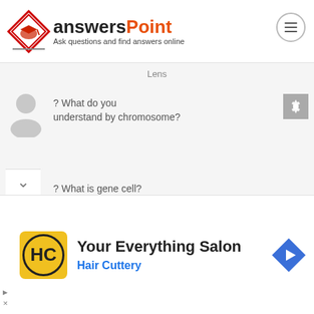answersPoint - Ask questions and find answers online
Lens
? What do you understand by chromosome?
? What is gene cell?
| ?
[Figure (screenshot): Advertisement for Hair Cuttery salon with logo and navigation icon]